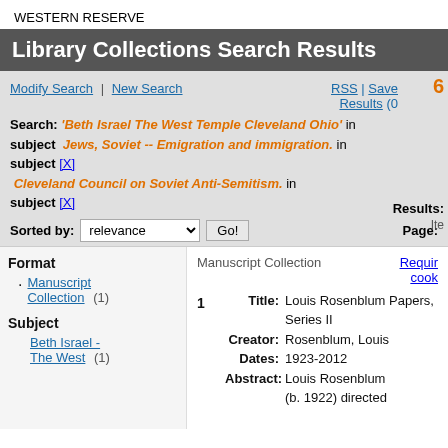WESTERN RESERVE
Library Collections Search Results
Modify Search | New Search | RSS | Save Results
Search: 'Beth Israel The West Temple Cleveland Ohio' in subject  Jews, Soviet -- Emigration and immigration. in subject [X] Cleveland Council on Soviet Anti-Semitism. in subject [X]
Sorted by: relevance  Go!  Page:
Format
Manuscript Collection (1)
Subject
Beth Israel - The West (1)
Manuscript Collection
1  Title: Louis Rosenblum Papers, Series II  Creator: Rosenblum, Louis  Dates: 1923-2012  Abstract: Louis Rosenblum (b. 1922) directed